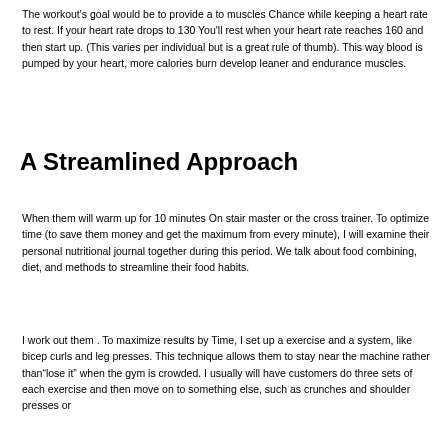The workout's goal would be to provide a to muscles Chance while keeping a heart rate to rest. If your heart rate drops to 130 You'll rest when your heart rate reaches 160 and then start up. (This varies per individual but is a great rule of thumb). This way blood is pumped by your heart, more calories burn develop leaner and endurance muscles.
A Streamlined Approach
When them will warm up for 10 minutes On stair master or the cross trainer. To optimize time (to save them money and get the maximum from every minute), I will examine their personal nutritional journal together during this period. We talk about food combining, diet, and methods to streamline their food habits.
I work out them . To maximize results by Time, I set up a exercise and a system, like bicep curls and leg presses. This technique allows them to stay near the machine rather than"lose it" when the gym is crowded. I usually will have customers do three sets of each exercise and then move on to something else, such as crunches and shoulder presses or